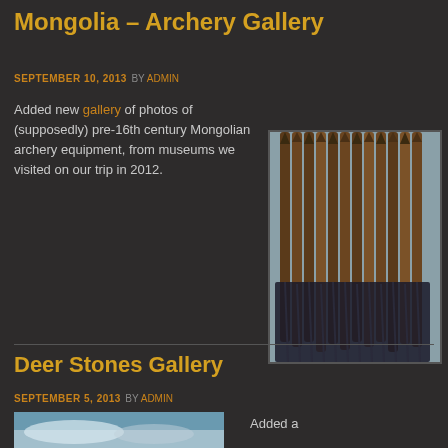Mongolia – Archery Gallery
SEPTEMBER 10, 2013 BY ADMIN
Added new gallery of photos of (supposedly) pre-16th century Mongolian archery equipment, from museums we visited on our trip in 2012.
[Figure (photo): Photo of multiple antique Mongolian arrows bundled together, showing wooden shafts with feathered fletching, displayed against a light blue-grey background]
Deer Stones Gallery
SEPTEMBER 5, 2013 BY ADMIN
[Figure (photo): Partial photo of sky with clouds, bottom portion of page]
Added a